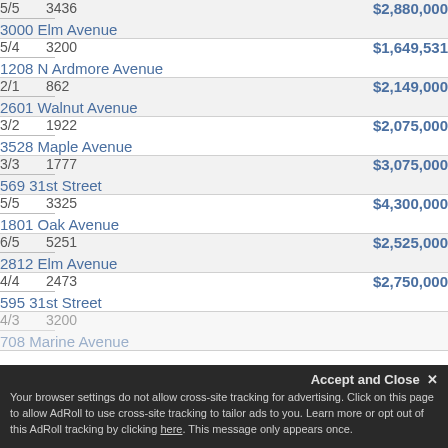| Beds/Baths | Sq Ft | Address | Price |
| --- | --- | --- | --- |
| 5/5 | 3436 | 3000 Elm Avenue | $2,880,000 |
| 5/4 | 3200 | 1208 N Ardmore Avenue | $1,649,531 |
| 2/1 | 862 | 2601 Walnut Avenue | $2,149,000 |
| 3/2 | 1922 | 3528 Maple Avenue | $2,075,000 |
| 3/3 | 1777 | 569 31st Street | $3,075,000 |
| 5/5 | 3325 | 1801 Oak Avenue | $4,300,000 |
| 6/5 | 5251 | 2812 Elm Avenue | $2,525,000 |
| 4/4 | 2473 | 595 31st Street | $2,750,000 |
| 4/3 | 3200 | 708 Marine Avenue |  |
| 4/5 | 3200 |  |  |
Your browser settings do not allow cross-site tracking for advertising. Click on this page to allow AdRoll to use cross-site tracking to tailor ads to you. Learn more or opt out of this AdRoll tracking by clicking here. This message only appears once.